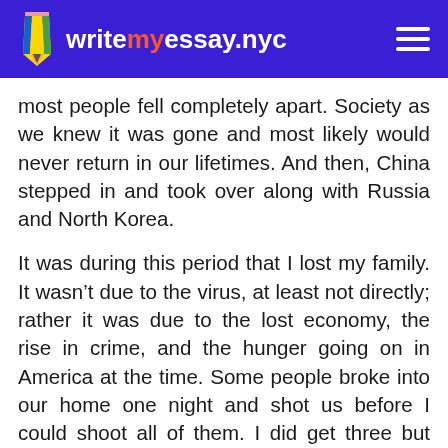writemyessay.nyc
most people fell completely apart. Society as we knew it was gone and most likely would never return in our lifetimes. And then, China stepped in and took over along with Russia and North Korea.
It was during this period that I lost my family. It wasn't due to the virus, at least not directly; rather it was due to the lost economy, the rise in crime, and the hunger going on in America at the time. Some people broke into our home one night and shot us before I could shoot all of them. I did get three but there were more and I failed my family, I couldn't protect them. My wife and son died, and I wish I had too. But, I didn't; I have no idea why.